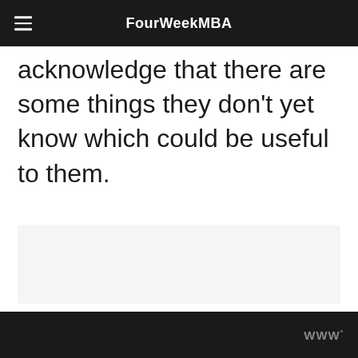FourWeekMBA
acknowledge that there are some things they don’t yet know which could be useful to them.
[Figure (other): Light gray rectangular content placeholder box]
WWº